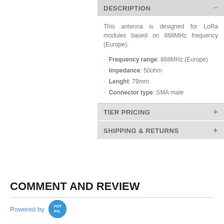DESCRIPTION
This antenna is designed for LoRa modules based on 868MHz frequency (Europe).
Frequency range: 868MHz (Europe)
Impedance: 50ohm
Lenght: 79mm
Connector type: SMA male
TIER PRICING
SHIPPING & RETURNS
COMMENT AND REVIEW
Powered by YOTPO